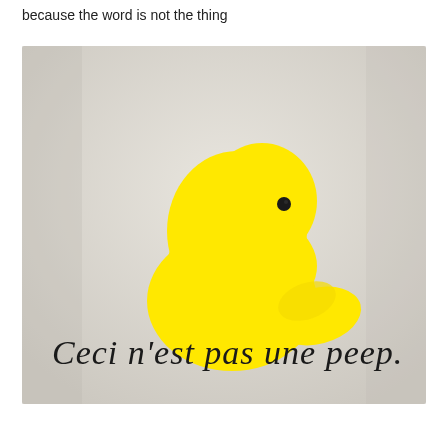because the word is not the thing
[Figure (photo): A yellow Peeps marshmallow chick candy photographed on a light background, with the handwritten text 'Ceci n'est pas une peep.' written below it in cursive script, referencing Magritte's 'The Treachery of Images'.]